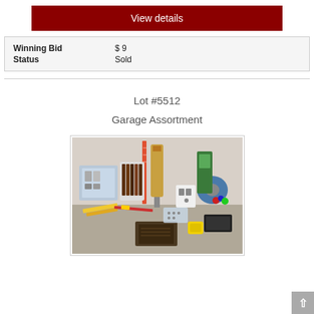View details
| Winning Bid | $ 9 |
| Status | Sold |
Lot #5512
Garage Assortment
[Figure (photo): Photo of a garage assortment lot including markers, caulk gun, gorilla glue, tools, wire, electrical outlet, tape, and miscellaneous hardware items on a table.]